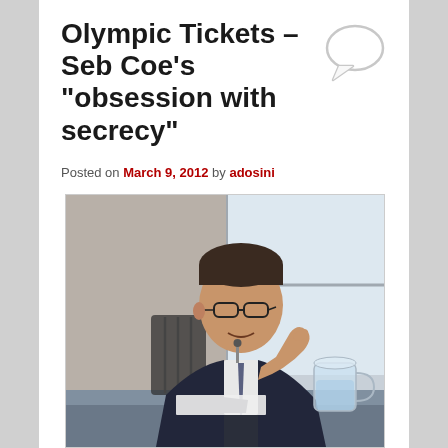Olympic Tickets – Seb Coe's “obsession with secrecy”
Posted on March 9, 2012 by adosini
[Figure (photo): A man in a dark suit and glasses sitting at a desk, gesturing with one hand, with a water jug visible in the foreground and a window in the background.]